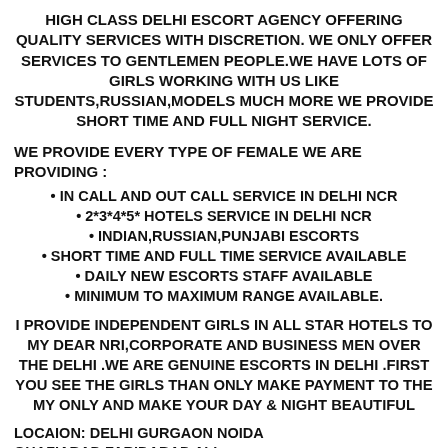HIGH CLASS DELHI ESCORT AGENCY OFFERING QUALITY SERVICES WITH DISCRETION. WE ONLY OFFER SERVICES TO GENTLEMEN PEOPLE.WE HAVE LOTS OF GIRLS WORKING WITH US LIKE STUDENTS,RUSSIAN,MODELS MUCH MORE WE PROVIDE SHORT TIME AND FULL NIGHT SERVICE.
WE PROVIDE EVERY TYPE OF FEMALE WE ARE PROVIDING :
IN CALL AND OUT CALL SERVICE IN DELHI NCR
2*3*4*5* HOTELS SERVICE IN DELHI NCR
INDIAN,RUSSIAN,PUNJABI ESCORTS
SHORT TIME AND FULL TIME SERVICE AVAILABLE
DAILY NEW ESCORTS STAFF AVAILABLE
MINIMUM TO MAXIMUM RANGE AVAILABLE.
I PROVIDE INDEPENDENT GIRLS IN ALL STAR HOTELS TO MY DEAR NRI,CORPORATE AND BUSINESS MEN OVER THE DELHI .WE ARE GENUINE ESCORTS IN DELHI .FIRST YOU SEE THE GIRLS THAN ONLY MAKE PAYMENT TO THE MY ONLY AND MAKE YOUR DAY & NIGHT BEAUTIFUL
LOCAION: DELHI GURGAON NOIDA GHAZIABAD,FARIDABAD ALL